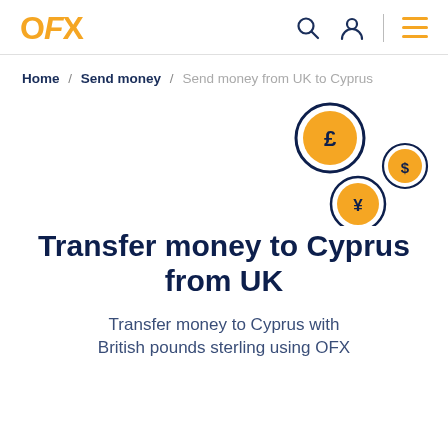OFX
Home / Send money / Send money from UK to Cyprus
[Figure (illustration): Three currency coins with pound (£), dollar ($), and yen (¥) symbols arranged in a scattered pattern on the right side of the page. Each coin is circular with an orange fill and dark navy border.]
Transfer money to Cyprus from UK
Transfer money to Cyprus with British pounds sterling using OFX